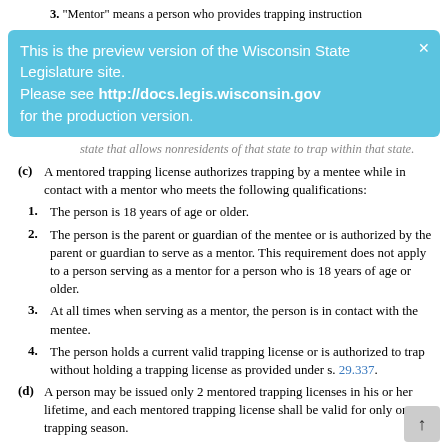3. "Mentor" means a person who provides trapping instruction
[Figure (screenshot): Preview banner: 'This is the preview version of the Wisconsin State Legislature site. Please see http://docs.legis.wisconsin.gov for the production version.' with close button X]
state that allows nonresidents of that state to trap within that state.
(c) A mentored trapping license authorizes trapping by a mentee while in contact with a mentor who meets the following qualifications:
1. The person is 18 years of age or older.
2. The person is the parent or guardian of the mentee or is authorized by the parent or guardian to serve as a mentor. This requirement does not apply to a person serving as a mentor for a person who is 18 years of age or older.
3. At all times when serving as a mentor, the person is in contact with the mentee.
4. The person holds a current valid trapping license or is authorized to trap without holding a trapping license as provided under s. 29.337.
(d) A person may be issued only 2 mentored trapping licenses in his or her lifetime, and each mentored trapping license shall be valid for only one trapping season.